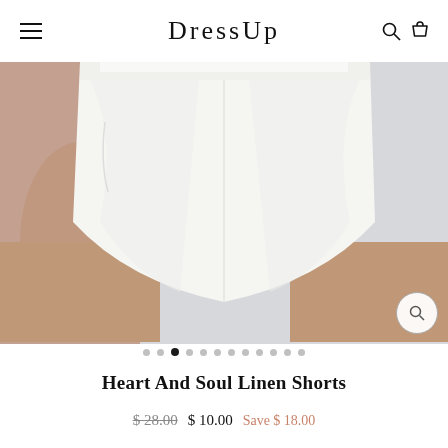DressUp
[Figure (photo): Close-up photo of a woman wearing white linen shorts, showing the lower torso and legs area. The shorts are loose-fitting and white. Background is light gray/blue.]
• • ● • • • • • • • • •
Heart And Soul Linen Shorts
$ 28.00  $ 10.00  Save $ 18.00